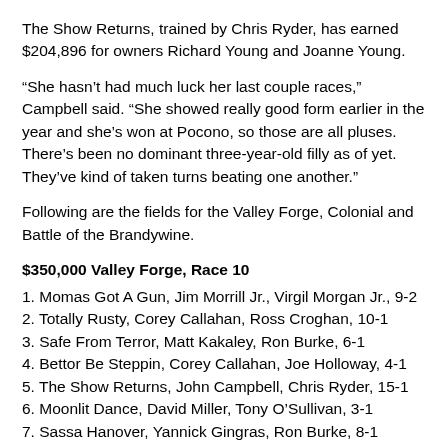The Show Returns, trained by Chris Ryder, has earned $204,896 for owners Richard Young and Joanne Young.
“She hasn’t had much luck her last couple races,” Campbell said. “She showed really good form earlier in the year and she’s won at Pocono, so those are all pluses. There’s been no dominant three-year-old filly as of yet. They’ve kind of taken turns beating one another.”
Following are the fields for the Valley Forge, Colonial and Battle of the Brandywine.
$350,000 Valley Forge, Race 10
1. Momas Got A Gun, Jim Morrill Jr., Virgil Morgan Jr., 9-2
2. Totally Rusty, Corey Callahan, Ross Croghan, 10-1
3. Safe From Terror, Matt Kakaley, Ron Burke, 6-1
4. Bettor Be Steppin, Corey Callahan, Joe Holloway, 4-1
5. The Show Returns, John Campbell, Chris Ryder, 15-1
6. Moonlit Dance, David Miller, Tony O’Sullivan, 3-1
7. Sassa Hanover, Yannick Gingras, Ron Burke, 8-1